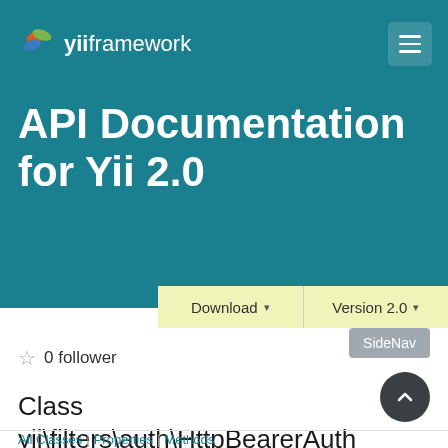yii framework
API Documentation for Yii 2.0
Download ▾   Version 2.0 ▾
SideNav
☆ 0 follower
Class yii\filters\auth\HttpBearerAuth
All Classes | Properties | Methods